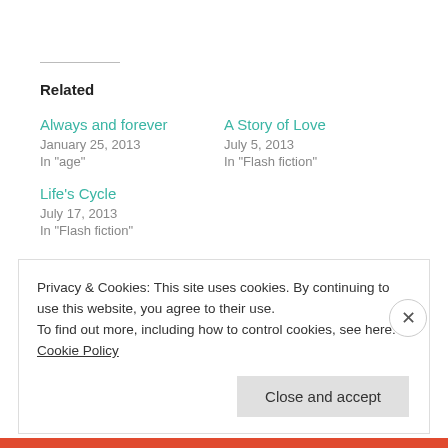Related
Always and forever
January 25, 2013
In "age"
A Story of Love
July 5, 2013
In "Flash fiction"
Life's Cycle
July 17, 2013
In "Flash fiction"
Privacy & Cookies: This site uses cookies. By continuing to use this website, you agree to their use.
To find out more, including how to control cookies, see here: Cookie Policy
Close and accept